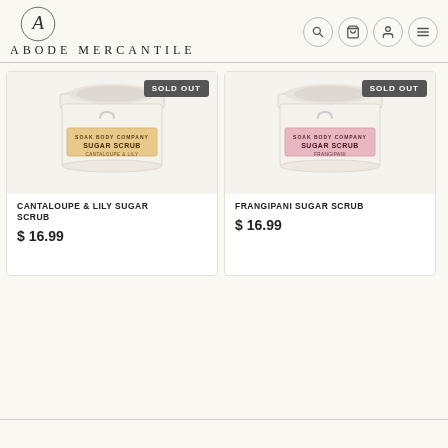ABODE MERCANTILE
[Figure (photo): Jar of Soak Body Company Sugar Scrub Cantaloupe & Lily with SOLD OUT badge]
CANTALOUPE & LILY SUGAR SCRUB
$ 16.99
[Figure (photo): Jar of Soak Body Company Sugar Scrub Frangipani with SOLD OUT badge]
FRANGIPANI SUGAR SCRUB
$ 16.99